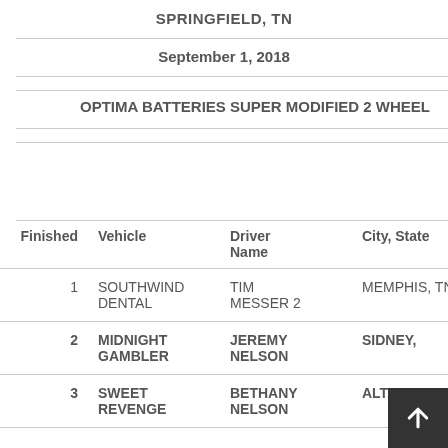SPRINGFIELD, TN
September 1, 2018
OPTIMA BATTERIES SUPER MODIFIED 2 WHEEL
| Finished | Vehicle | Driver Name | City, State |
| --- | --- | --- | --- |
| 1 | SOUTHWIND DENTAL | TIM MESSER 2 | MEMPHIS, TN |
| 2 | MIDNIGHT GAMBLER | JEREMY NELSON | SIDNEY, |
| 3 | SWEET REVENGE | BETHANY NELSON | ALTAMONT, IL |